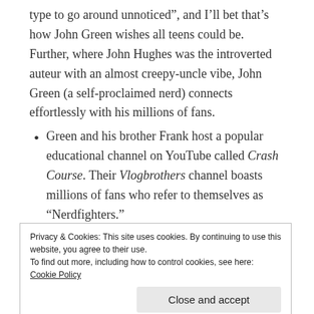type to go around unnoticed", and I'll bet that's how John Green wishes all teens could be. Further, where John Hughes was the introverted auteur with an almost creepy-uncle vibe, John Green (a self-proclaimed nerd) connects effortlessly with his millions of fans.
Green and his brother Frank host a popular educational channel on YouTube called Crash Course. Their Vlogbrothers channel boasts millions of fans who refer to themselves as “Nerdfighters.”
Green’s mantra to fans: “Don’t Forget to Be Awesome.”
Privacy & Cookies: This site uses cookies. By continuing to use this website, you agree to their use. To find out more, including how to control cookies, see here: Cookie Policy
help normalize different.